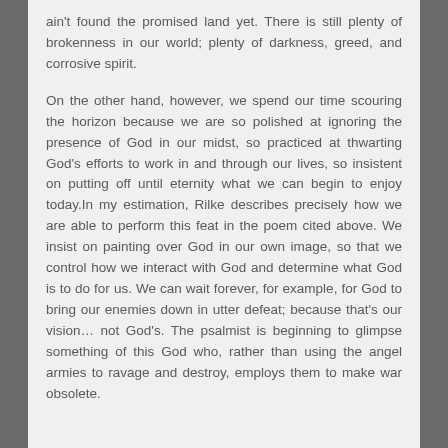ain't found the promised land yet. There is still plenty of brokenness in our world; plenty of darkness, greed, and corrosive spirit.
On the other hand, however, we spend our time scouring the horizon because we are so polished at ignoring the presence of God in our midst, so practiced at thwarting God's efforts to work in and through our lives, so insistent on putting off until eternity what we can begin to enjoy today.In my estimation, Rilke describes precisely how we are able to perform this feat in the poem cited above. We insist on painting over God in our own image, so that we control how we interact with God and determine what God is to do for us. We can wait forever, for example, for God to bring our enemies down in utter defeat; because that's our vision... not God's. The psalmist is beginning to glimpse something of this God who, rather than using the angel armies to ravage and destroy, employs them to make war obsolete.